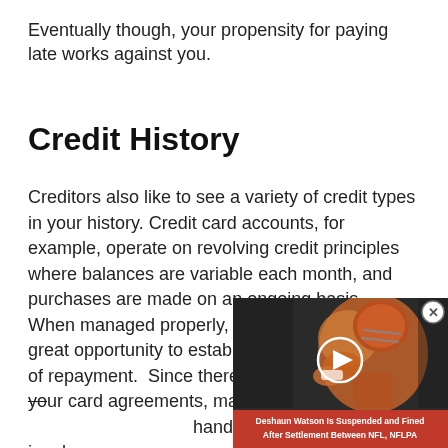Eventually though, your propensity for paying late works against you.
Credit History
Creditors also like to see a variety of credit types in your history. Credit card accounts, for example, operate on revolving credit principles where balances are variable each month, and purchases are made on an ongoing basis.  When managed properly, revolving credit is a great opportunity to establish a solid track-record of repayment.  Since there is discretion built in to your card agreements, managing t… hands. The longer you juggle… successfully, the better you a…
[Figure (screenshot): Video overlay widget showing a football player, with a red caption bar reading 'Deshaun Watson Is Suspended and Fined After Settlement Between NFL, NFLPA', a circular play button, and a close (X) button.]